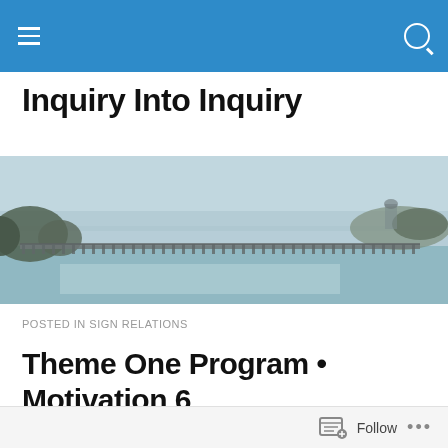Navigation bar with hamburger menu and search icon
Inquiry Into Inquiry
[Figure (photo): Panoramic landscape photo of a river with a long bridge/viaduct spanning across it, trees on the left bank, and a distant city skyline. Muted, hazy tones of blue-green and grey.]
POSTED IN SIGN RELATIONS
Theme One Program • Motivation 6
Follow •••